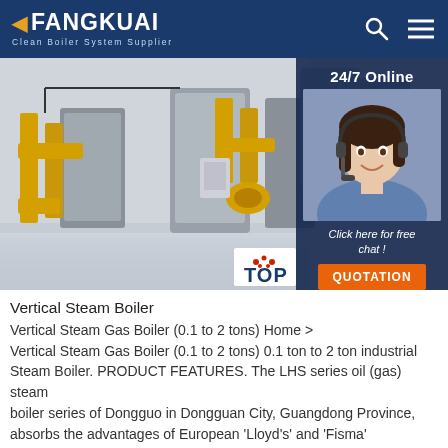FANGKUAI Clean Boiler System Supplier
[Figure (photo): Industrial boiler room with yellow gas pipes and metal boilers in a large facility]
[Figure (photo): 24/7 Online chat agent - smiling woman wearing headset, with 'Click here for free chat!' text and QUOTATION button]
Vertical Steam Boiler
Vertical Steam Gas Boiler (0.1 to 2 tons) Home >
Vertical Steam Gas Boiler (0.1 to 2 tons) 0.1 ton to 2 ton industrial Steam Boiler. PRODUCT FEATURES. The LHS series oil (gas) steam boiler series of Dongguo in Dongguan City, Guangdong Province, absorbs the advantages of European 'Lloyd's' and 'Fisma' horizontal wet back three ...
[Figure (other): Get Price button - orange button at bottom left]